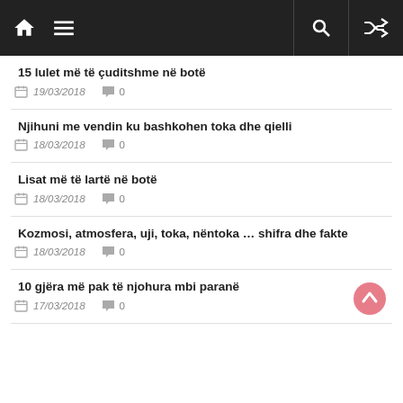Navigation bar with home, menu, search and shuffle icons
15 lulet më të çuditshme në botë — 19/03/2018, 0 comments
Njihuni me vendin ku bashkohen toka dhe qielli — 18/03/2018, 0 comments
Lisat më të lartë në botë — 18/03/2018, 0 comments
Kozmosi, atmosfera, uji, toka, nëntoka … shifra dhe fakte — 18/03/2018, 0 comments
10 gjëra më pak të njohura mbi paranë — 17/03/2018, 0 comments